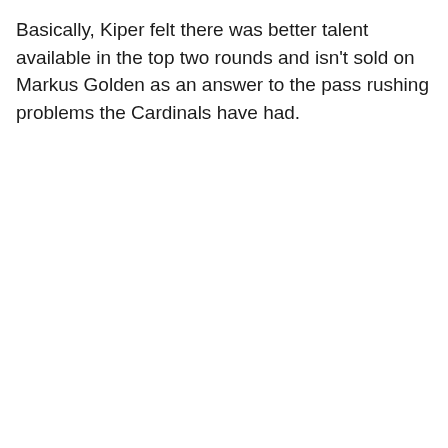Basically, Kiper felt there was better talent available in the top two rounds and isn't sold on Markus Golden as an answer to the pass rushing problems the Cardinals have had.